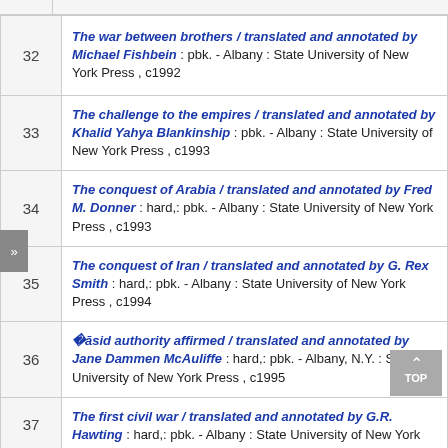| # | Entry |
| --- | --- |
| 32 | The war between brothers / translated and annotated by Michael Fishbein : pbk. - Albany : State University of New York Press , c1992 |
| 33 | The challenge to the empires / translated and annotated by Khalid Yahya Blankinship : pbk. - Albany : State University of New York Press , c1993 |
| 34 | The conquest of Arabia / translated and annotated by Fred M. Donner : hard,: pbk. - Albany : State University of New York Press , c1993 |
| 35 | The conquest of Iran / translated and annotated by G. Rex Smith : hard,: pbk. - Albany : State University of New York Press , c1994 |
| 36 | ʻAbbāsid authority affirmed / translated and annotated by Jane Dammen McAuliffe : hard,: pbk. - Albany, N.Y. : State University of New York Press , c1995 |
| 37 | The first civil war / translated and annotated by G.R. Hawting : hard,: pbk. - Albany : State University of New York Press |